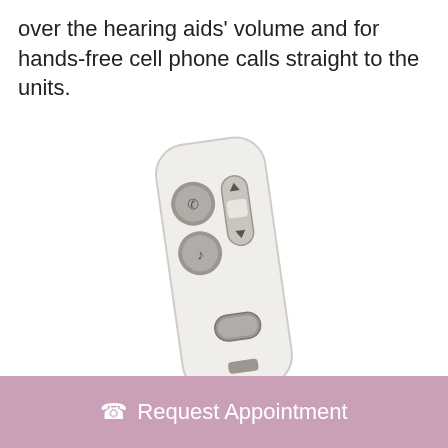over the hearing aids' volume and for hands-free cell phone calls straight to the units.
[Figure (photo): A white hearing aid remote control device shown at a slight angle, with several buttons: a phone/call button (circle with phone icon), a music button (circle with musical note icon), a vertical rocker/slider button for volume control with up and down arrows, and an oval-shaped button near the bottom. The device has a rectangular form with rounded corners and a light gray/white body.]
Request Appointment